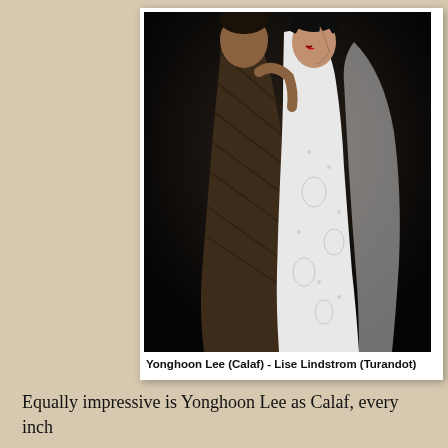[Figure (photo): Two opera performers in costume on a dark stage. One figure in a brown/dark striped costume holds the other in a white embroidered gown, their heads close together in an intimate pose.]
Yonghoon Lee (Calaf) - Lise Lindstrom (Turandot)
Equally impressive is Yonghoon Lee as Calaf, every inch